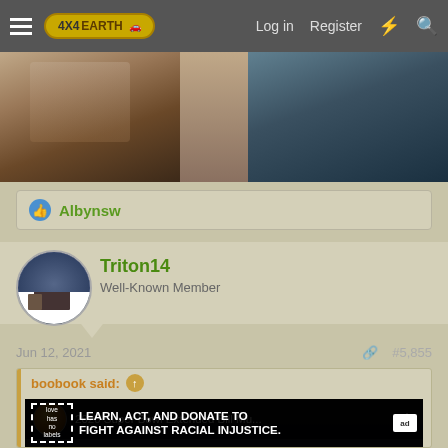4X4EARTH — Log in  Register
[Figure (photo): Photo of a person sitting on a teal/dark sofa, close-up view cropped at top]
Albynsw
Triton14
Well-Known Member
Jun 12, 2021   #5,855
boobook said:
[Figure (screenshot): YouTube video thumbnail showing '2020 Super Bowl Extended Bill Mu...' with overlay text: LEARN, ACT, AND DONATE TO FIGHT AGAINST RACIAL INJUSTICE.]